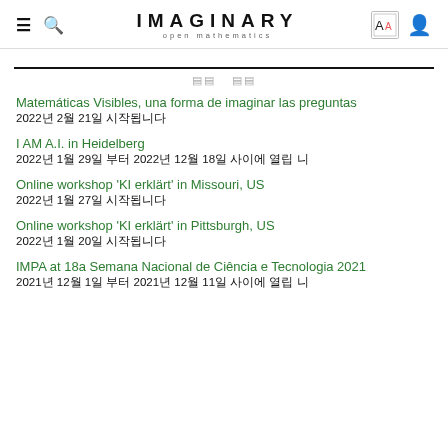IMAGINARY open mathematics
Matemáticas Visibles, una forma de imaginar las preguntas
2022년 2월 21일 시작됩니다
I AM A.I. in Heidelberg
2022년 1월 29일 부터 2022년 12월 18일 사이에 열립
Online workshop 'KI erklärt' in Missouri, US
2022년 1월 27일 시작됩니다
Online workshop 'KI erklärt' in Pittsburgh, US
2022년 1월 20일 시작됩니다
IMPA at 18a Semana Nacional de Ciência e Tecnologia 2021
2021년 12월 1일 부터 2021년 12월 11일 사이에 열립